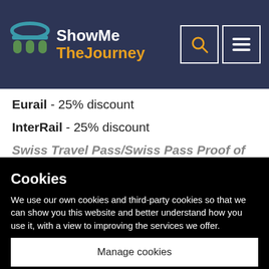ShowMe TheJourney - website header with logo and navigation icons
Eurail - 25% discount
InterRail - 25% discount
Swiss Travel Pass/Swiss Pass Proof of...
Cookies
We use our own cookies and third-party cookies so that we can show you this website and better understand how you use it, with a view to improving the services we offer.
Manage cookies
Accept all